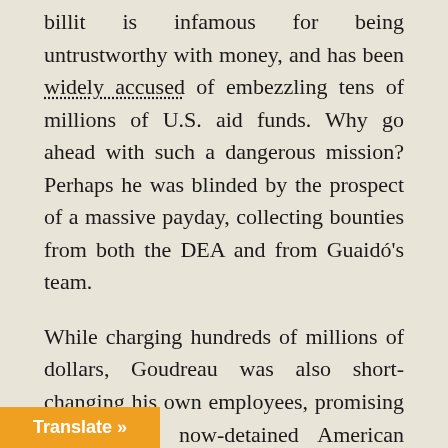billit is infamous for being untrustworthy with money, and has been widely accused of embezzling tens of millions of U.S. aid funds. Why go ahead with such a dangerous mission? Perhaps he was blinded by the prospect of a massive payday, collecting bounties from both the DEA and from Guaidó's team.
While charging hundreds of millions of dollars, Goudreau was also short-changing his own employees, promising to pay the now-detained American mercenaries only between $50,000 and $100,000 to risk their lives for the operation, all while he stayed at his Florida home. It remains unclear who was the biggest chump in the bungled operation: Goudreau, or his naïve accomplices.